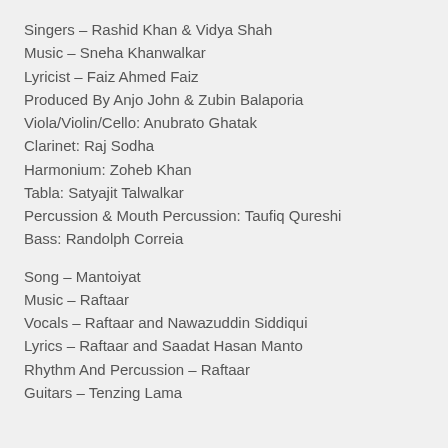Singers – Rashid Khan & Vidya Shah
Music – Sneha Khanwalkar
Lyricist – Faiz Ahmed Faiz
Produced By Anjo John & Zubin Balaporia
Viola/Violin/Cello: Anubrato Ghatak
Clarinet: Raj Sodha
Harmonium: Zoheb Khan
Tabla: Satyajit Talwalkar
Percussion & Mouth Percussion: Taufiq Qureshi
Bass: Randolph Correia
Song – Mantoiyat
Music – Raftaar
Vocals – Raftaar and Nawazuddin Siddiqui
Lyrics – Raftaar and Saadat Hasan Manto
Rhythm And Percussion – Raftaar
Guitars – Tenzing Lama